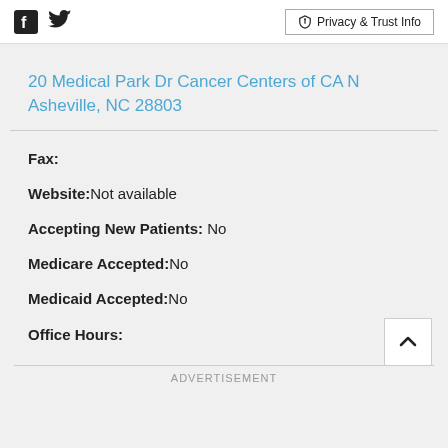Social icons (Facebook, Twitter) | Privacy & Trust Info
20 Medical Park Dr Cancer Centers of CA N Asheville, NC 28803
Fax:
Website: Not available
Accepting New Patients: No
Medicare Accepted: No
Medicaid Accepted: No
Office Hours:
ADVERTISEMENT